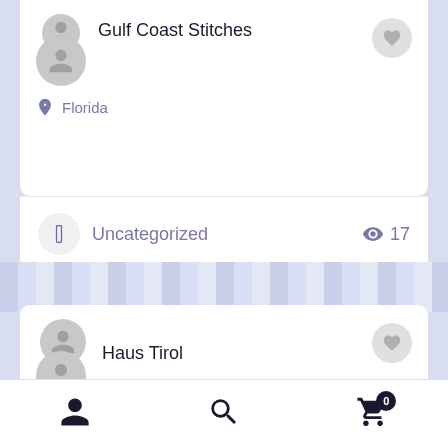Gulf Coast Stitches
Florida
Uncategorized
17
Haus Tirol
1915 Pocahontas Trail Williamsburg VA 23185 USA
0